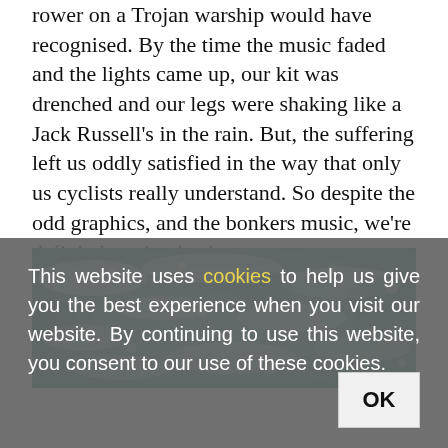rower on a Trojan warship would have recognised. By the time the music faded and the lights came up, our kit was drenched and our legs were shaking like a Jack Russell's in the rain. But, the suffering left us oddly satisfied in the way that only us cyclists really understand. So despite the odd graphics, and the bonkers music, we're definitely going back.
[Figure (photo): Aerial or close-up photograph of ocean water surface with teal/turquoise colors and white foam/bubbles.]
This website uses cookies to help us give you the best experience when you visit our website. By continuing to use this website, you consent to our use of these cookies.